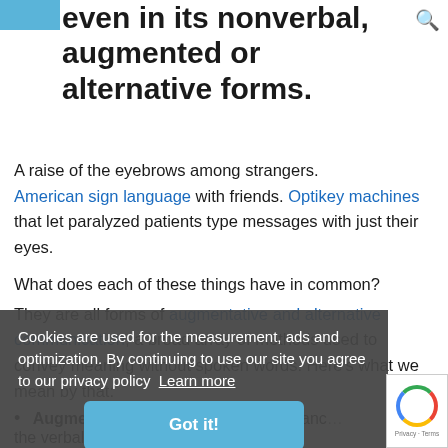even in its nonverbal, augmented or alternative forms.
A raise of the eyebrows among strangers. American sign language with friends. Optikey machines that let paralyzed patients type messages with just their eyes.
What does each of these things have in common?
They are all forms of augmentative and alternative communication, a broad array of methods used to convey meaning without spoken words. Here's what we mean by that:
Cookies are used for the measurement, ads and optimization. By continuing to use our site you agree to our privacy policy  Learn more
Augmentative: Think of these as enhancing the verbal communication we already do.